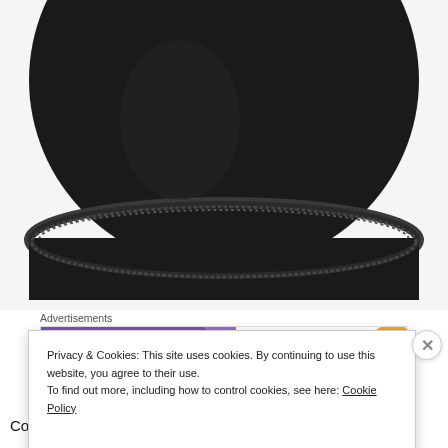[Figure (photo): Close-up photo of a black leather zipper case, showing the zipper detail along the edge on a white background.]
Advertisements
[Figure (other): WooCommerce advertisement banner: purple background with WooCommerce logo on the left, green arrow shape pointing right, text 'How to start selling subscriptions online', with orange and blue decorative shapes on the right.]
Compact and lightweight, this leather case from BSI will
Privacy & Cookies: This site uses cookies. By continuing to use this website, you agree to their use.
To find out more, including how to control cookies, see here: Cookie Policy
Close and accept